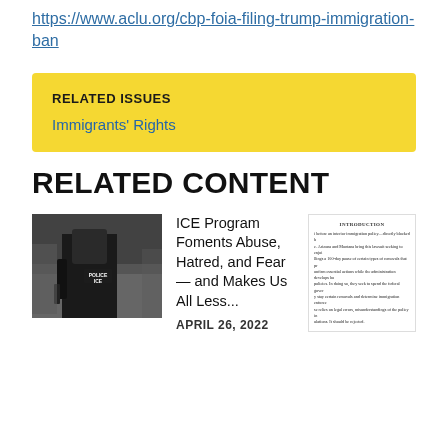https://www.aclu.org/cbp-foia-filing-trump-immigration-ban
RELATED ISSUES
Immigrants' Rights
RELATED CONTENT
[Figure (photo): A person wearing a black jacket with 'POLICE ICE' text on the back, photographed from behind, with blurred background.]
ICE Program Foments Abuse, Hatred, and Fear — and Makes Us All Less...
APRIL 26, 2022
[Figure (screenshot): A document page showing an INTRODUCTION section with small text discussing an interior immigration policy lawsuit by Arizona and Montana seeking to enjoin a 100-day pause of certain types of removals.]